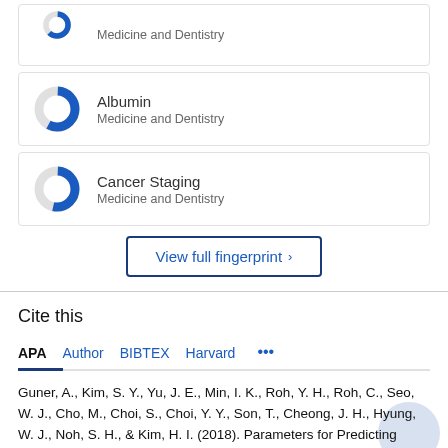[Figure (donut-chart): Partial donut chart icon for Medicine and Dentistry category (top item, partially visible)]
[Figure (donut-chart): Partial donut chart icon for Albumin, Medicine and Dentistry]
[Figure (donut-chart): Partial donut chart icon for Cancer Staging, Medicine and Dentistry]
View full fingerprint >
Cite this
APA  Author  BIBTEX  Harvard  ...
Guner, A., Kim, S. Y., Yu, J. E., Min, I. K., Roh, Y. H., Roh, C., Seo, W. J., Cho, M., Choi, S., Choi, Y. Y., Son, T., Cheong, J. H., Hyung, W. J., Noh, S. H., & Kim, H. I. (2018). Parameters for Predicting